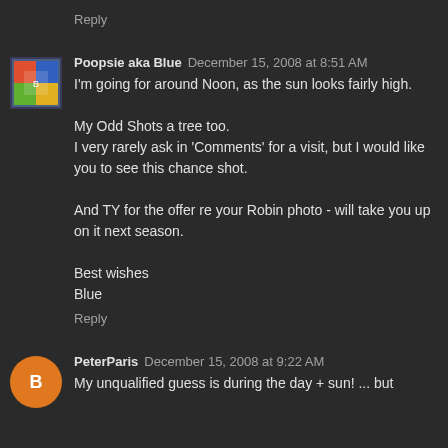Reply
Poopsie aka Blue  December 15, 2008 at 8:51 AM
I'm going for around Noon, as the sun looks fairly high.

My Odd Shots a tree too.
I very rarely ask in 'Comments' for a visit, but I would like you to see this chance shot.

And TY for the offer re your Robin photo - will take you up on it next season.

Best wishes
Blue
Reply
PeterParis  December 15, 2008 at 9:22 AM
My unqualified guess is during the day + sun! ... but